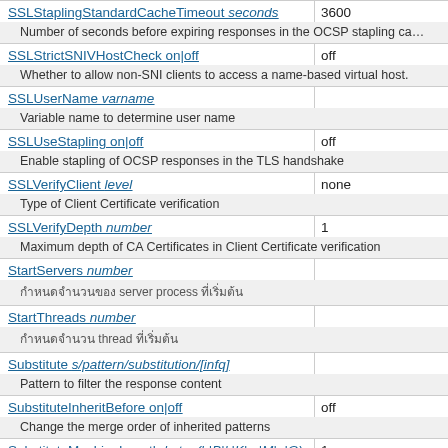| Directive | Default |
| --- | --- |
| SSLStaplingStandardCacheTimeout seconds | 3600 |
| Number of seconds before expiring responses in the OCSP stapling ca… |  |
| SSLStrictSNIVHostCheck on|off | off |
| Whether to allow non-SNI clients to access a name-based virtual host. |  |
| SSLUserName varname |  |
| Variable name to determine user name |  |
| SSLUseStapling on|off | off |
| Enable stapling of OCSP responses in the TLS handshake |  |
| SSLVerifyClient level | none |
| Type of Client Certificate verification |  |
| SSLVerifyDepth number | 1 |
| Maximum depth of CA Certificates in Client Certificate verification |  |
| StartServers number |  |
| [Thai text] |  |
| StartThreads number |  |
| [Thai text] |  |
| Substitute s/pattern/substitution/[infq] |  |
| Pattern to filter the response content |  |
| SubstituteInheritBefore on|off | off |
| Change the merge order of inherited patterns |  |
| SubstituteMaxLineLength bytes(b|B|k|K|m|M|g|G) | 1m |